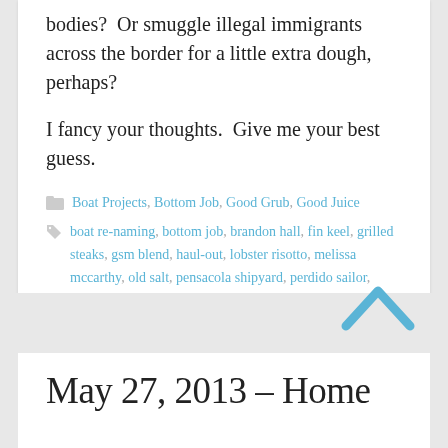bodies?  Or smuggle illegal immigrants across the border for a little extra dough, perhaps?
I fancy your thoughts.  Give me your best guess.
Boat Projects, Bottom Job, Good Grub, Good Juice
boat re-naming, bottom job, brandon hall, fin keel, grilled steaks, gsm blend, haul-out, lobster risotto, melissa mccarthy, old salt, pensacola shipyard, perdido sailor, spanx, the heat, travelift, up on the hard   7 Comments
May 27, 2013 – Home